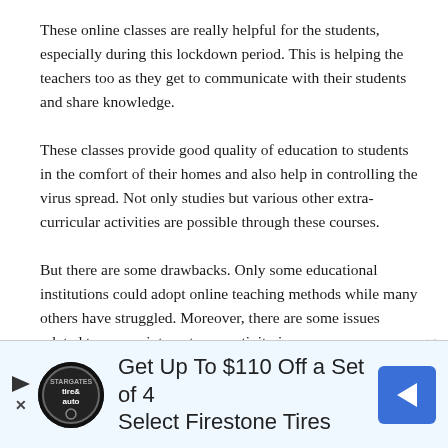These online classes are really helpful for the students, especially during this lockdown period. This is helping the teachers too as they get to communicate with their students and share knowledge.
These classes provide good quality of education to students in the comfort of their homes and also help in controlling the virus spread. Not only studies but various other extra-curricular activities are possible through these courses.
But there are some drawbacks. Only some educational institutions could adopt online teaching methods while many others have struggled. Moreover, there are some issues related to proper internet connectivity in some areas.
[Figure (infographic): Advertisement banner: Tire & Auto logo (circular black badge), text 'Get Up To $110 Off a Set of 4 Select Firestone Tires', blue navigation arrow icon on the right. Play button and X icon on the left side.]